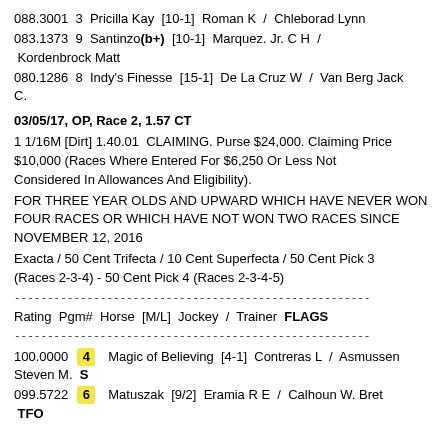088.3001  3  Pricilla Kay  [10-1]  Roman K  /  Chleborad Lynn
083.1373  9  Santinzo(b+)  [10-1]  Marquez. Jr. C H  /  Kordenbrock Matt
080.1286  8  Indy's Finesse  [15-1]  De La Cruz W  /  Van Berg Jack C.
03/05/17, OP, Race 2, 1.57 CT
1 1/16M [Dirt] 1.40.01  CLAIMING. Purse $24,000. Claiming Price $10,000 (Races Where Entered For $6,250 Or Less Not Considered In Allowances And Eligibility).
FOR THREE YEAR OLDS AND UPWARD WHICH HAVE NEVER WON FOUR RACES OR WHICH HAVE NOT WON TWO RACES SINCE NOVEMBER 12, 2016
Exacta / 50 Cent Trifecta / 10 Cent Superfecta / 50 Cent Pick 3 (Races 2-3-4) - 50 Cent Pick 4 (Races 2-3-4-5)
------------------------------------------------------
Rating  Pgm#  Horse  [M/L]  Jockey  /  Trainer  FLAGS
------------------------------------------------------
100.0000  4  Magic of Believing  [4-1]  Contreras L  /  Asmussen Steven M.  S
099.5722  6  Matuszak  [9/2]  Eramia R E  /  Calhoun W. Bret  TFO